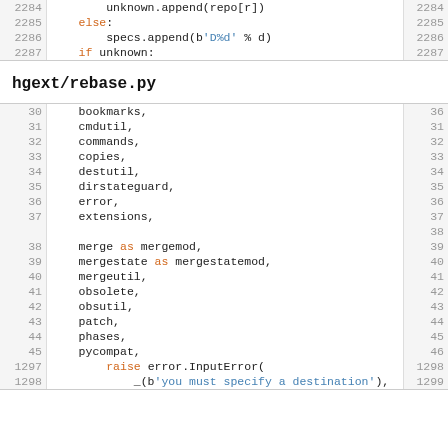[Figure (screenshot): Code snippet showing lines 2284-2287 with unknown.append, else, specs.append, if unknown]
hgext/rebase.py
[Figure (screenshot): Code snippet showing lines 30-45 with import list: bookmarks, cmdutil, commands, copies, destutil, dirstateguard, error, extensions, merge as mergemod, mergestate as mergestatemod, mergeutil, obsolete, obsutil, patch, phases, pycompat, and lines 1297-1299 with raise error.InputError and _(b'you must specify a destination')]